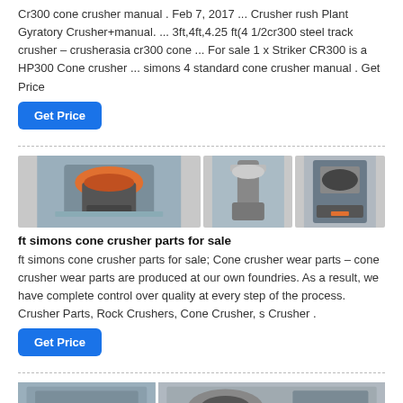Cr300 cone crusher manual . Feb 7, 2017 ... Crusher rush Plant Gyratory Crusher+manual. ... 3ft,4ft,4.25 ft(4 1/2cr300 steel track crusher – crusherasia cr300 cone ... For sale 1 x Striker CR300 is a HP300 Cone crusher ... simons 4 standard cone crusher manual . Get Price
[Figure (other): Blue Get Price button]
[Figure (photo): Three industrial cone crusher machine photos arranged in a row]
ft simons cone crusher parts for sale
ft simons cone crusher parts for sale; Cone crusher wear parts – cone crusher wear parts are produced at our own foundries. As a result, we have complete control over quality at every step of the process. Crusher Parts, Rock Crushers, Cone Crusher, s Crusher .
[Figure (other): Blue Get Price button]
[Figure (photo): Two industrial crusher machine photos at the bottom of the page]